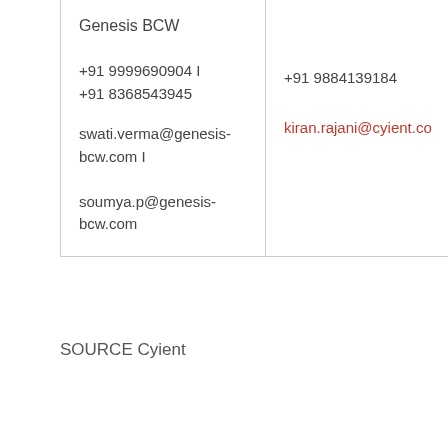| Genesis BCW |  |
| +91 9999690904 I
+91 8368543945 | +91 9884139184 |
| swati.verma@genesis-bcw.com I
soumya.p@genesis-bcw.com | kiran.rajani@cyient.co |
SOURCE Cyient